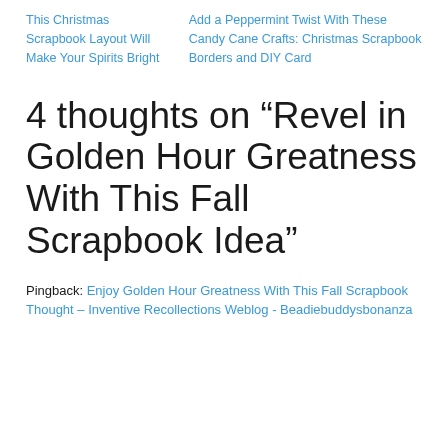This Christmas Scrapbook Layout Will Make Your Spirits Bright
Add a Peppermint Twist With These Candy Cane Crafts: Christmas Scrapbook Borders and DIY Card
4 thoughts on “Revel in Golden Hour Greatness With This Fall Scrapbook Idea”
Pingback: Enjoy Golden Hour Greatness With This Fall Scrapbook Thought – Inventive Recollections Weblog - Beadiebuddysbonanza